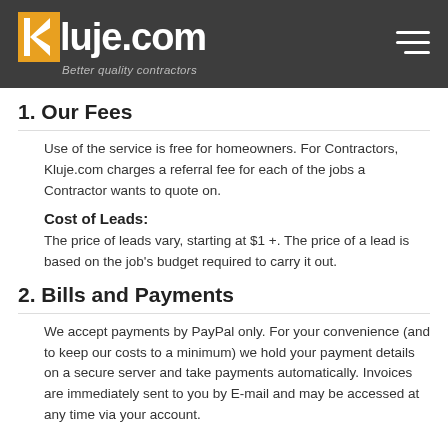Kluje.com — Better quality contractors
1. Our Fees
Use of the service is free for homeowners. For Contractors, Kluje.com charges a referral fee for each of the jobs a Contractor wants to quote on.
Cost of Leads:
The price of leads vary, starting at $1 +. The price of a lead is based on the job's budget required to carry it out.
2. Bills and Payments
We accept payments by PayPal only. For your convenience (and to keep our costs to a minimum) we hold your payment details on a secure server and take payments automatically. Invoices are immediately sent to you by E-mail and may be accessed at any time via your account.